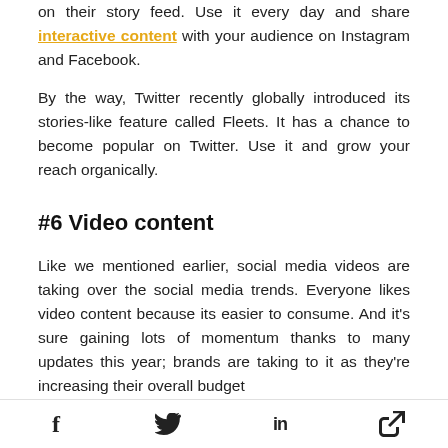on their story feed. Use it every day and share interactive content with your audience on Instagram and Facebook.
By the way, Twitter recently globally introduced its stories-like feature called Fleets. It has a chance to become popular on Twitter. Use it and grow your reach organically.
#6 Video content
Like we mentioned earlier, social media videos are taking over the social media trends. Everyone likes video content because its easier to consume. And it's sure gaining lots of momentum thanks to many updates this year; brands are taking to it as they're increasing their overall budget
f  [twitter bird]  in  [link icon]